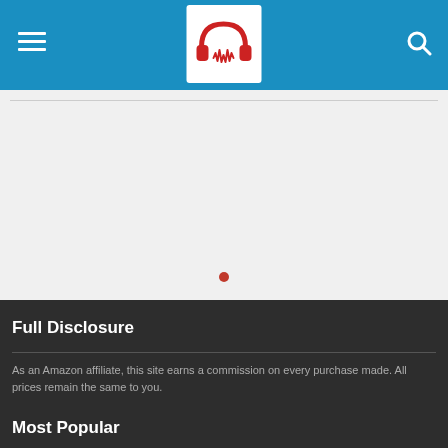Navigation header with hamburger menu, logo, and search icon
[Figure (logo): Red headphones logo with white background on blue navigation bar]
Full Disclosure
As an Amazon affiliate, this site earns a commission on every purchase made. All prices remain the same to you.
Most Popular
Rock Trivia Quiz Answers
August 25, 2021
Rock Trivia Quiz: That Really Doesn't Sound Right